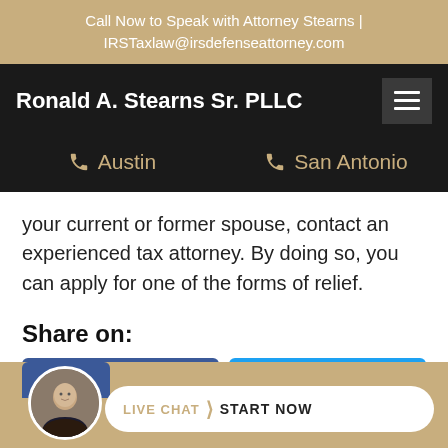Call Now to Speak with Attorney Stearns | IRSTaxlaw@irsdefenseattorney.com
Ronald A. Stearns Sr. PLLC
Austin   San Antonio
your current or former spouse, contact an experienced tax attorney. By doing so, you can apply for one of the forms of relief.
Share on:
[Figure (other): Facebook and Twitter share buttons]
[Figure (other): Live chat widget with attorney avatar and START NOW button]